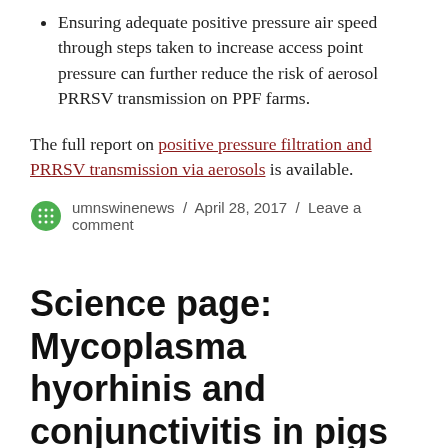Ensuring adequate positive pressure air speed through steps taken to increase access point pressure can further reduce the risk of aerosol PRRSV transmission on PPF farms.
The full report on positive pressure filtration and PRRSV transmission via aerosols is available.
umnswinenews / April 28, 2017 / Leave a comment
Science page: Mycoplasma hyorhinis and conjunctivitis in pigs